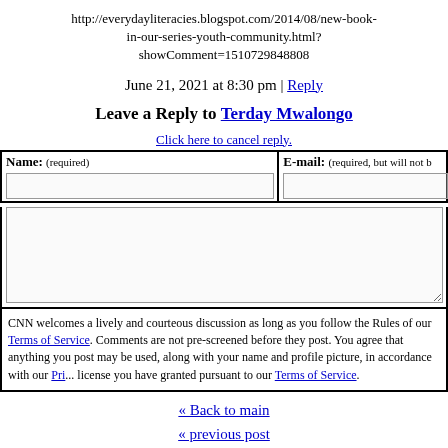http://everydayliteracies.blogspot.com/2014/08/new-book-in-our-series-youth-community.html?showComment=1510729848808
June 21, 2021 at 8:30 pm | Reply
Leave a Reply to Terday Mwalongo
Click here to cancel reply.
| Name: (required) | E-mail: (required, but will not be published) |
| --- | --- |
|  |  |
(comment textarea area)
CNN welcomes a lively and courteous discussion as long as you follow the Rules of our Terms of Service. Comments are not pre-screened before they post. You agree that anything you post may be used, along with your name and profile picture, in accordance with our Pri... license you have granted pursuant to our Terms of Service.
« Back to main
« previous post